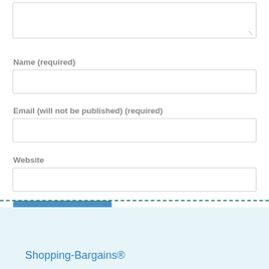(textarea field — top of page, partially visible)
Name (required)
Email (will not be published) (required)
Website
Submit Comment
Shopping-Bargains®